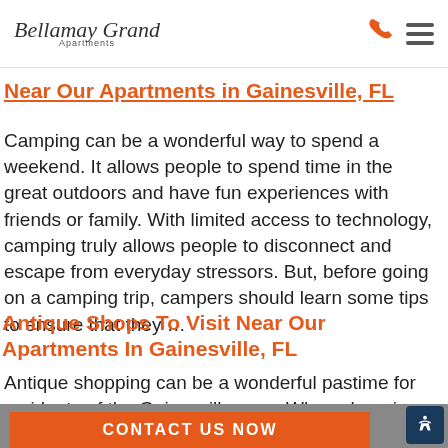Bellamay Grand Apartments
Near Our Apartments in Gainesville, FL
Camping can be a wonderful way to spend a weekend. It allows people to spend time in the great outdoors and have fun experiences with friends or family. With limited access to technology, camping truly allows people to disconnect and escape from everyday stressors. But, before going on a camping trip, campers should learn some tips to ensure that they …
Antique Shops To Visit Near Our Apartments In Gainesville, FL
Antique shopping can be a wonderful pastime for residents of the Gainesville area. When shopping, people can find
CONTACT US NOW